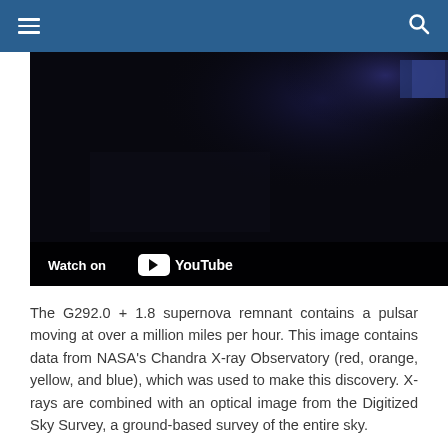[Figure (screenshot): YouTube video embed showing a dark astronomical image of the G292.0+1.8 supernova remnant, with a 'Watch on YouTube' bar at the bottom]
The G292.0 + 1.8 supernova remnant contains a pulsar moving at over a million miles per hour. This image contains data from NASA's Chandra X-ray Observatory (red, orange, yellow, and blue), which was used to make this discovery. X-rays are combined with an optical image from the Digitized Sky Survey, a ground-based survey of the entire sky.